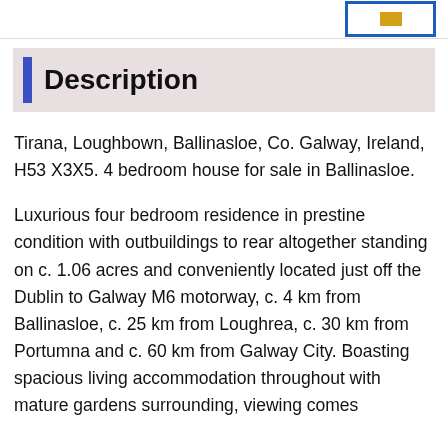Description
Tirana, Loughbown, Ballinasloe, Co. Galway, Ireland, H53 X3X5. 4 bedroom house for sale in Ballinasloe.
Luxurious four bedroom residence in prestine condition with outbuildings to rear altogether standing on c. 1.06 acres and conveniently located just off the Dublin to Galway M6 motorway, c. 4 km from Ballinasloe, c. 25 km from Loughrea, c. 30 km from Portumna and c. 60 km from Galway City. Boasting spacious living accommodation throughout with mature gardens surrounding, viewing comes